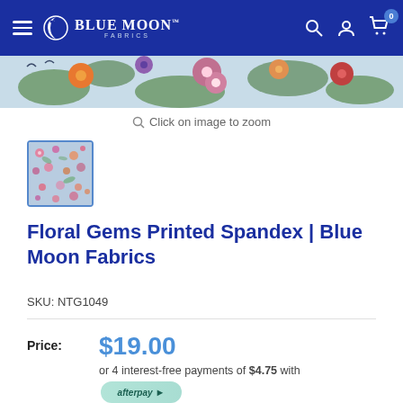Blue Moon Fabrics
[Figure (photo): Floral fabric product hero image strip showing colorful flowers including orange, pink, red blooms on a light background]
Click on image to zoom
[Figure (photo): Small thumbnail of floral printed spandex fabric with blue, pink and green floral pattern, outlined with blue border]
Floral Gems Printed Spandex | Blue Moon Fabrics
SKU: NTG1049
Price: $19.00
or 4 interest-free payments of $4.75 with